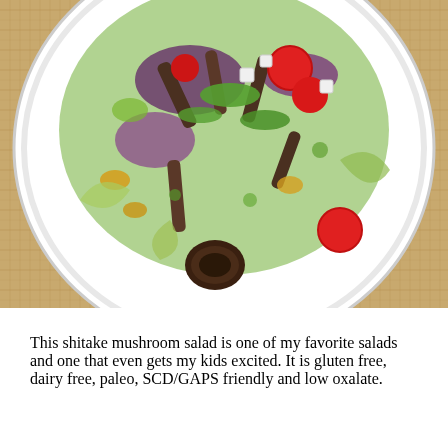[Figure (photo): Overhead close-up photo of a shitake mushroom salad on a white round plate placed on a tan woven placemat. The salad contains sliced shiitake mushrooms, cherry tomatoes, purple cabbage, green onions, butter lettuce, yellow peppers, and other colorful vegetables.]
This shitake mushroom salad is one of my favorite salads and one that even gets my kids excited. It is gluten free, dairy free, paleo, SCD/GAPS friendly and low oxalate.